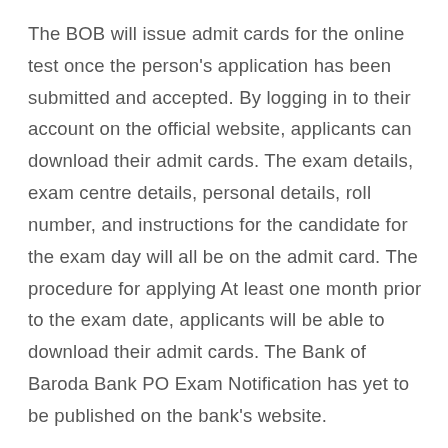The BOB will issue admit cards for the online test once the person's application has been submitted and accepted. By logging in to their account on the official website, applicants can download their admit cards. The exam details, exam centre details, personal details, roll number, and instructions for the candidate for the exam day will all be on the admit card. The procedure for applying At least one month prior to the exam date, applicants will be able to download their admit cards. The Bank of Baroda Bank PO Exam Notification has yet to be published on the bank's website.